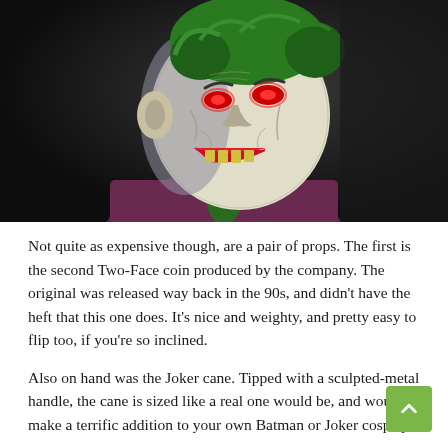[Figure (photo): A highly detailed Joker bust sculpture or statue with green hair, pale white skin, red lips showing yellow teeth, red glowing eyes, and a dark purple jacket with green tie, photographed against a dark background.]
Not quite as expensive though, are a pair of props. The first is the second Two-Face coin produced by the company. The original was released way back in the 90s, and didn't have the heft that this one does. It's nice and weighty, and pretty easy to flip too, if you're so inclined.
Also on hand was the Joker cane. Tipped with a sculpted-metal handle, the cane is sized like a real one would be, and would make a terrific addition to your own Batman or Joker cosplay...